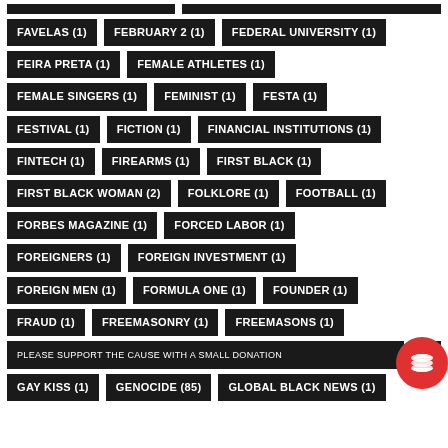FAVELAS (1)
FEBRUARY 2 (1)
FEDERAL UNIVERSITY (1)
FEIRA PRETA (1)
FEMALE ATHLETES (1)
FEMALE SINGERS (1)
FEMINIST (1)
FESTA (1)
FESTIVAL (1)
FICTION (1)
FINANCIAL INSTITUTIONS (1)
FINTECH (1)
FIREARMS (1)
FIRST BLACK (1)
FIRST BLACK WOMAN (2)
FOLKLORE (1)
FOOTBALL (1)
FORBES MAGAZINE (1)
FORCED LABOR (1)
FOREIGNERS (1)
FOREIGN INVESTMENT (1)
FOREIGN MEN (1)
FORMULA ONE (1)
FOUNDER (1)
FRAUD (1)
FREEMASONRY (1)
FREEMASONS (1)
PLEASE SUPPORT THE CAUSE WITH A SMALL DONATION
GAY KISS (1)
GENOCIDE (85)
GLOBAL BLACK NEWS (1)